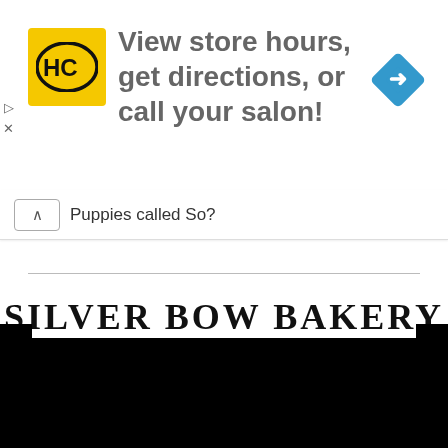[Figure (screenshot): Advertisement banner for a hair salon locator: HC logo in yellow square on left, text 'View store hours, get directions, or call your salon!', blue diamond navigation icon on right.]
Puppies called So?
SILVER BOW BAKERY
Best recipes on the internet
Registered Office: Florida
United States of America
Made with lots of Love © 2022
Sitemap
[Figure (screenshot): Black area at the bottom of the page, partially cut off, with notches on left and right sides at the top edge.]